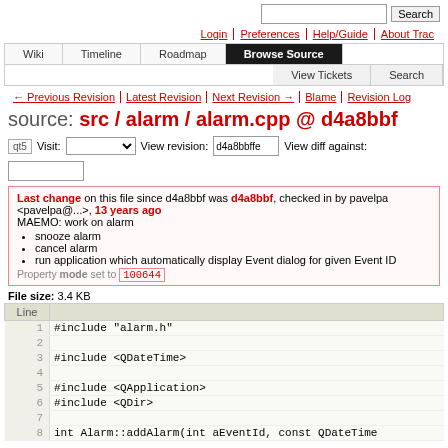Search | Login | Preferences | Help/Guide | About Trac
Wiki | Timeline | Roadmap | Browse Source | View Tickets | Search
← Previous Revision | Latest Revision | Next Revision → | Blame | Revision Log
source: src / alarm / alarm.cpp @ d4a8bbf
qt5  Visit: [dropdown]  View revision: d4a8bbffe  View diff against: [input]
Last change on this file since d4a8bbf was d4a8bbf, checked in by pavelpa <pavelpa@...>, 13 years ago
MAEMO: work on alarm
• snooze alarm
• cancel alarm
• run application which automatically display Event dialog for given Event ID
Property mode set to 100644
File size: 3.4 KB
| Line |  |
| --- | --- |
| 1 | #include "alarm.h" |
| 2 |  |
| 3 | #include <QDateTime> |
| 4 |  |
| 5 | #include <QApplication> |
| 6 | #include <QDir> |
| 7 |  |
| 8 | int Alarm::addAlarm(int aEventId, const QDateTime |